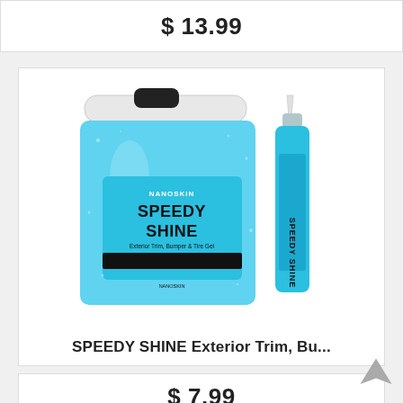$ 13.99
[Figure (photo): Two Nanoskin SPEEDY SHINE Exterior Trim, Bumper & Tire Gel product containers — a large blue gallon jug and a smaller blue squeeze bottle — on a white background.]
SPEEDY SHINE Exterior Trim, Bu...
$ 7.99